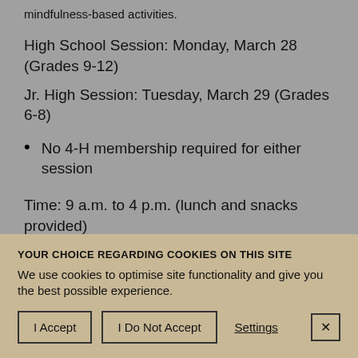mindfulness-based activities.
High School Session: Monday, March 28 (Grades 9-12)
Jr. High Session: Tuesday, March 29 (Grades 6-8)
No 4-H membership required for either session
Time: 9 a.m. to 4 p.m. (lunch and snacks provided)
YOUR CHOICE REGARDING COOKIES ON THIS SITE
We use cookies to optimise site functionality and give you the best possible experience.
I Accept | I Do Not Accept | Settings | X